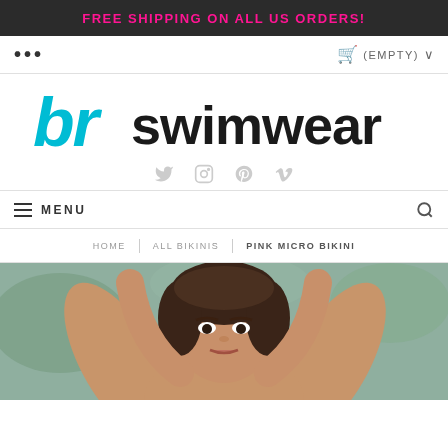FREE SHIPPING ON ALL US ORDERS!
... (EMPTY) ∨
[Figure (logo): br swimwear logo with teal stylized 'br' letters and dark 'swimwear' text, with reflection effect underneath]
[Figure (infographic): Social media icons: Twitter, Instagram, Pinterest, Vimeo]
≡ MENU
HOME | ALL BIKINIS | PINK MICRO BIKINI
[Figure (photo): Model wearing pink micro bikini, photographed from chest up, hands behind head, outdoor poolside setting]